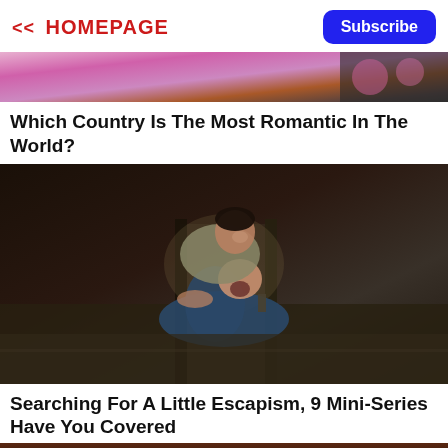<< HOMEPAGE
Subscribe
[Figure (photo): Top banner image with pink and orange tones, partially visible]
Which Country Is The Most Romantic In The World?
[Figure (photo): Two men laughing and wrestling in a doorway, one on top of the other, dark indoor setting]
Searching For A Little Escapism, 9 Mini-Series Have You Covered
[Figure (photo): Bottom partial image with dark warm tones, bokeh lights visible]